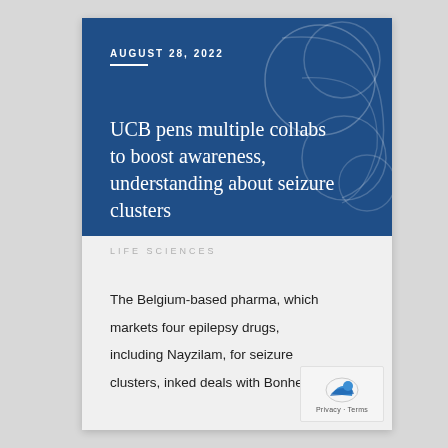AUGUST 28, 2022
UCB pens multiple collabs to boost awareness, understanding about seizure clusters
LIFE SCIENCES
The Belgium-based pharma, which markets four epilepsy drugs, including Nayzilam, for seizure clusters, inked deals with Bonheur